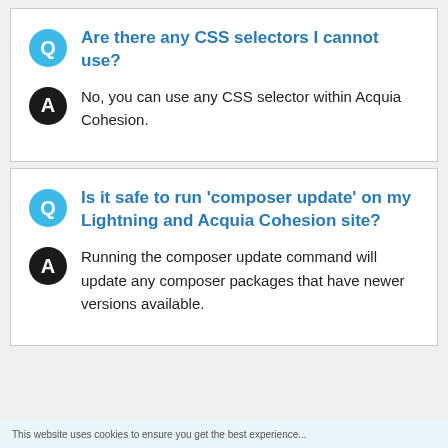Are there any CSS selectors I cannot use?
No, you can use any CSS selector within Acquia Cohesion.
Is it safe to run 'composer update' on my Lightning and Acquia Cohesion site?
Running the composer update command will update any composer packages that have newer versions available.
This website uses cookies to ensure you get the best experience...